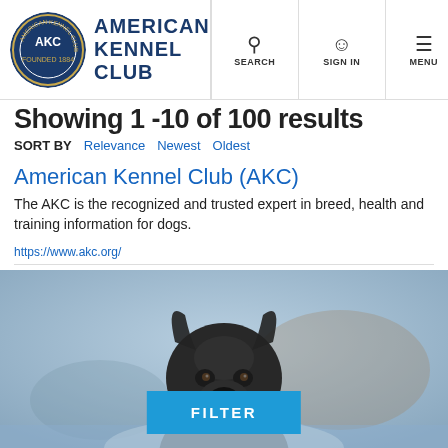American Kennel Club — SEARCH | SIGN IN | MENU
Showing 1 -10 of 100 results
SORT BY  Relevance  Newest  Oldest
American Kennel Club (AKC)
The AKC is the recognized and trusted expert in breed, health and training information for dogs.
https://www.akc.org/
[Figure (photo): A close-up photo of a black French Bulldog looking at the camera with an outdoor blurred background. A blue FILTER button is overlaid at the bottom center.]